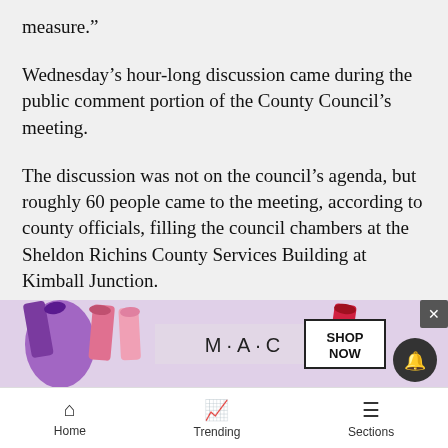measure.”
Wednesday’s hour-long discussion came during the public comment portion of the County Council’s meeting.
The discussion was not on the council’s agenda, but roughly 60 people came to the meeting, according to county officials, filling the council chambers at the Sheldon Richins County Services Building at Kimball Junction.
Summit County Sheriff’s Office deputies were on hand.
Nearly 30 people spoke, their comments punctuated by sometimes enthusiastic applause. The vast majority of com… contin… with
[Figure (advertisement): MAC cosmetics lipstick advertisement with SHOP NOW button]
Home   Trending   Sections